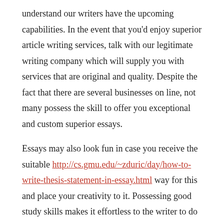understand our writers have the upcoming capabilities. In the event that you'd enjoy superior article writing services, talk with our legitimate writing company which will supply you with services that are original and quality. Despite the fact that there are several businesses on line, not many possess the skill to offer you exceptional and custom superior essays.
Essays may also look fun in case you receive the suitable http://cs.gmu.edu/~zduric/day/how-to-write-thesis-statement-in-essay.html way for this and place your creativity to it. Possessing good study skills makes it effortless to the writer to do thorough research and also compose the paper effectively. You've got write where Industry dissertation will be purchased by it.